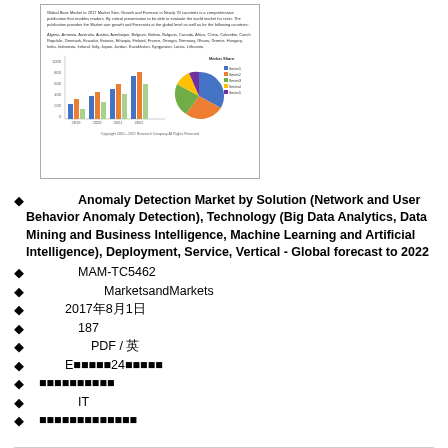[Figure (screenshot): Preview thumbnail image of a market research report showing bar charts and a pie chart with small text about the Global Base Market forecast.]
◆　　　　Anomaly Detection Market by Solution (Network and User Behavior Anomaly Detection), Technology (Big Data Analytics, Data Mining and Business Intelligence, Machine Learning and Artificial Intelligence), Deployment, Service, Vertical - Global forecast to 2022
◆　　　　MAM-TC5462
◆　　　　　　MarketsandMarkets
◆　　　2017年8月1日
◆　　　　187
◆　　　　　PDF / 英
◆　　　E■■■■■24■■■■■
◆　■■■■■■■■■■
◆　　　　IT
◆　■■■■■■■■■■■■■